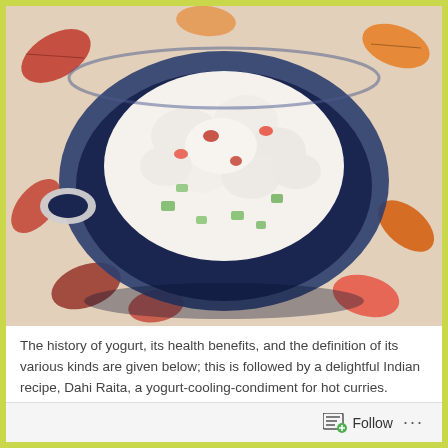[Figure (photo): Overhead shot of a ceramic bowl containing Dahi Raita — a white yogurt-based dish with chopped green cucumber and red tomato pieces, placed on a floral tablecloth with autumn leaf pattern in orange and red.]
The history of yogurt, its health benefits, and the definition of its various kinds are given below; this is followed by a delightful Indian recipe, Dahi Raita, a yogurt-cooling-condiment for hot curries.
The Advent of Yogurt
Follow ...